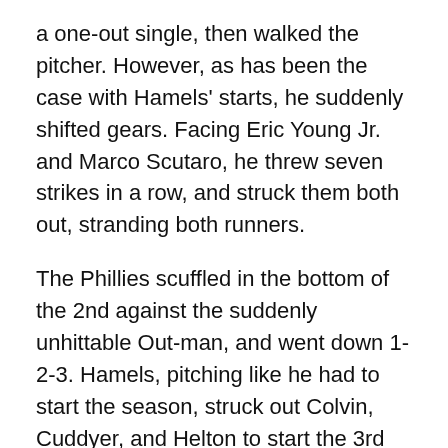a one-out single, then walked the pitcher. However, as has been the case with Hamels' starts, he suddenly shifted gears. Facing Eric Young Jr. and Marco Scutaro, he threw seven strikes in a row, and struck them both out, stranding both runners.
The Phillies scuffled in the bottom of the 2nd against the suddenly unhittable Out-man, and went down 1-2-3. Hamels, pitching like he had to start the season, struck out Colvin, Cuddyer, and Helton to start the 3rd and stretch his streak to 5 straight K's. Finally, in the bottom of the 3rd, the Phillies took advantage of a 2 out walk of Jimmy Rollins and he scored on a double by Polanco that rolled to the left field wall.